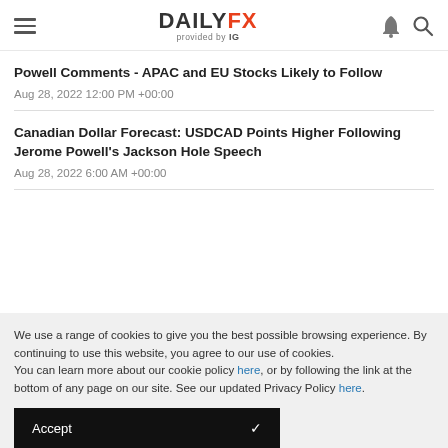DAILYFX provided by IG
Powell Comments - APAC and EU Stocks Likely to Follow
Aug 28, 2022 12:00 PM +00:00
Canadian Dollar Forecast: USDCAD Points Higher Following Jerome Powell's Jackson Hole Speech
Aug 28, 2022 6:00 AM +00:00
We use a range of cookies to give you the best possible browsing experience. By continuing to use this website, you agree to our use of cookies.
You can learn more about our cookie policy here, or by following the link at the bottom of any page on our site. See our updated Privacy Policy here.
Accept